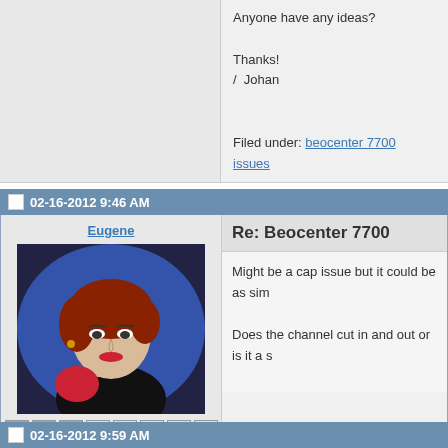Anyone have any ideas?

Thanks!
/  Johan

Filed under: beocenter 7700 issues
02-16-2012 9:46 AM
Eugene
[Figure (photo): User avatar showing a painted portrait of a woman with red hair]
Joined on 12-17-2008
Posts 589
Re: Beocenter 7700
Might be a cap issue but it could be as sim
Does the channel cut in and out or is it a s
02-16-2012 9:59 AM